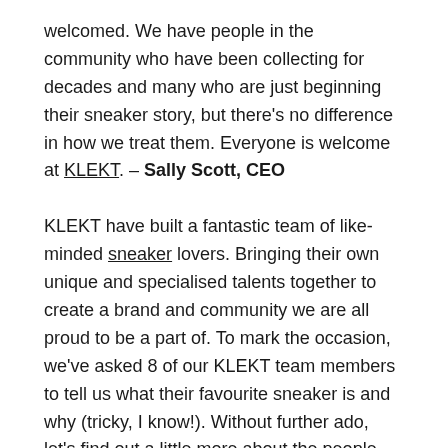welcomed. We have people in the community who have been collecting for decades and many who are just beginning their sneaker story, but there's no difference in how we treat them. Everyone is welcome at KLEKT. – Sally Scott, CEO
KLEKT have built a fantastic team of like-minded sneaker lovers. Bringing their own unique and specialised talents together to create a brand and community we are all proud to be a part of. To mark the occasion, we've asked 8 of our KLEKT team members to tell us what their favourite sneaker is and why (tricky, I know!). Without further ado, let's find out a little more about the people behind the brand!
Chloe Sintim, CRM Campaign Manager